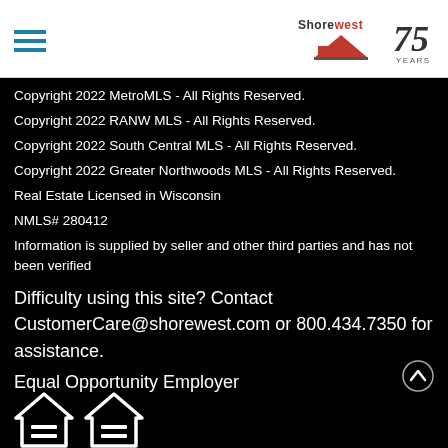Shorewest 75 Years
Copyright 2022 MetroMLS - All Rights Reserved.
Copyright 2022 RANW MLS - All Rights Reserved.
Copyright 2022 South Central MLS - All Rights Reserved.
Copyright 2022 Greater Northwoods MLS - All Rights Reserved.
Real Estate Licensed in Wisconsin
NMLS# 280412
Information is supplied by seller and other third parties and has not been verified
Difficulty using this site? Contact CustomerCare@shorewest.com or 800.434.7350 for assistance.
Equal Opportunity Employer